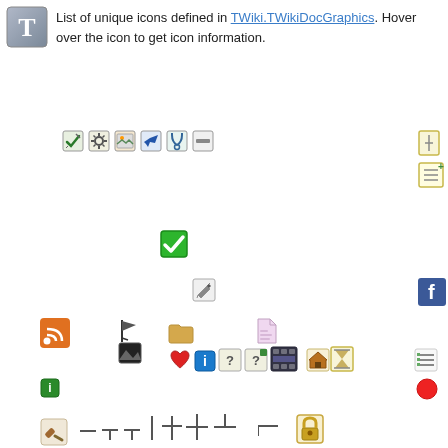[Figure (screenshot): TWiki T logo icon in top-left corner, grey/blue square with letter T]
List of unique icons defined in TWiki.TWikiDocGraphics. Hover over the icon to get icon information.
[Figure (infographic): Grid of various small wiki icons including: checkmark pencil, gear, image, airplane, phone, minus box, attachment, new page, green checkmark, edit pencil, Facebook icon, RSS feed, flag, folder, pink noise document, heart, info i, help question marks, film strip, home, hourglass, list, red circle, info i green, mountain image, gavel/hammer, line/table drawing tools, lock, briefcase, pin/marker, key, mountains, globe, down arrow, number 6, tools, phone2, bar chart, edit pencil, mail envelope, person/user silhouette, magnify/search, window/file, graph, StumbleUpon logo]